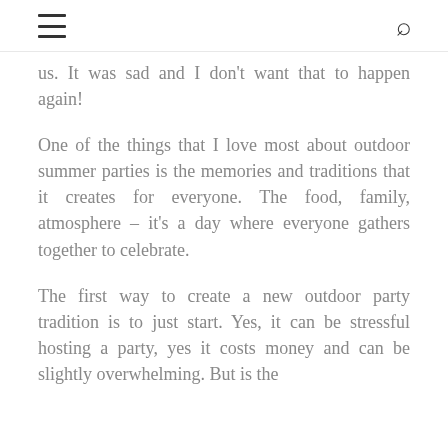[hamburger menu icon] [search icon]
us. It was sad and I don't want that to happen again!
One of the things that I love most about outdoor summer parties is the memories and traditions that it creates for everyone. The food, family, atmosphere – it's a day where everyone gathers together to celebrate.
The first way to create a new outdoor party tradition is to just start. Yes, it can be stressful hosting a party, yes it costs money and can be slightly overwhelming. But is the